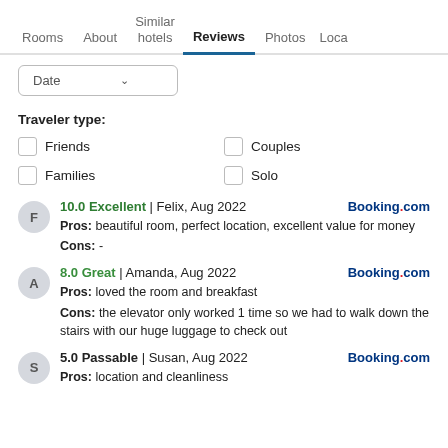Rooms | About | Similar hotels | Reviews | Photos | Loca
Date (dropdown)
Traveler type:
Friends
Couples
Families
Solo
10.0 Excellent | Felix, Aug 2022 — Booking.com
Pros: beautiful room, perfect location, excellent value for money
Cons: -
8.0 Great | Amanda, Aug 2022 — Booking.com
Pros: loved the room and breakfast
Cons: the elevator only worked 1 time so we had to walk down the stairs with our huge luggage to check out
5.0 Passable | Susan, Aug 2022 — Booking.com
Pros: location and cleanliness